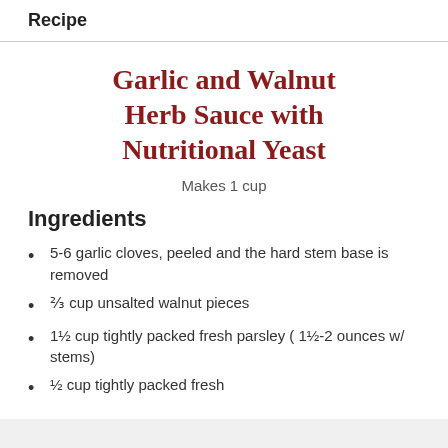Recipe
Garlic and Walnut Herb Sauce with Nutritional Yeast
Makes 1 cup
Ingredients
5-6 garlic cloves, peeled and the hard stem base is removed
⅔ cup unsalted walnut pieces
1½ cup tightly packed fresh parsley ( 1½-2 ounces w/ stems)
½ cup tightly packed fresh